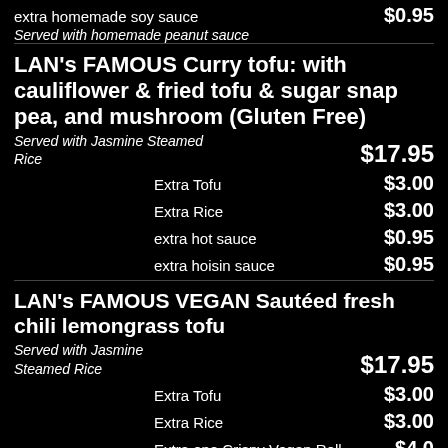extra homemade soy sauce  $0.95
Served with homemade peanut sauce
LAN's FAMOUS Curry tofu: with cauliflower & fried tofu & sugar snap pea, and mushroom (Gluten Free)
Served with Jasmine Steamed Rice  $17.95
Extra Tofu  $3.00
Extra Rice  $3.00
extra hot sauce  $0.95
extra hoisin sauce  $0.95
LAN's FAMOUS VEGAN Sautéed fresh chili lemongrass tofu
Served with Jasmine Steamed Rice  $17.95
Extra Tofu  $3.00
Extra Rice  $3.00
Extra one Crispy Vegan Roll  $4.00